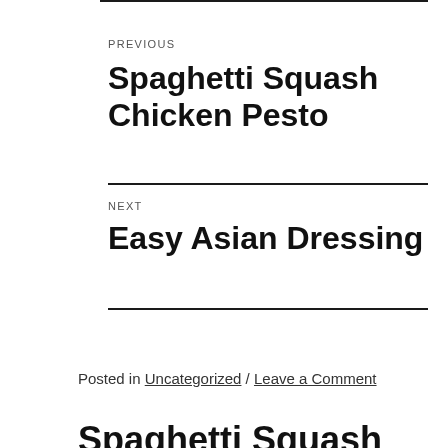PREVIOUS
Spaghetti Squash Chicken Pesto
NEXT
Easy Asian Dressing
Posted in Uncategorized / Leave a Comment
Spaghetti Squash